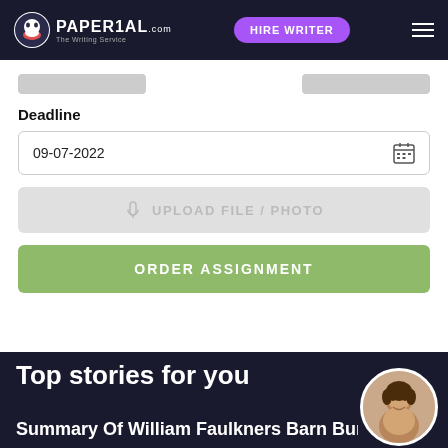PAPERIAL - HIRE WRITER
Deadline
09-07-2022
UPLOAD FILE / PHOTO
ORDER ASSIGNMENT
Top stories for you
Summary Of William Faulkners Barn Burning